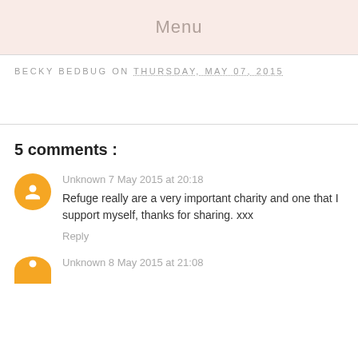Menu
BECKY BEDBUG ON THURSDAY, MAY 07, 2015
5 comments :
Unknown 7 May 2015 at 20:18
Refuge really are a very important charity and one that I support myself, thanks for sharing. xxx
Reply
Unknown 8 May 2015 at 21:08